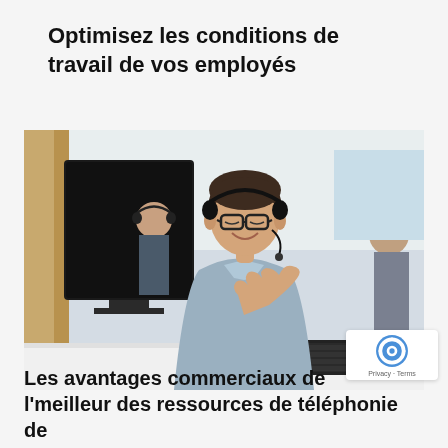Optimisez les conditions de travail de vos employés
[Figure (photo): A smiling man wearing glasses and a headset in a call center office, sitting in front of a computer monitor with a keyboard and mouse, other employees visible in the background.]
Les avantages commerciaux de l'...